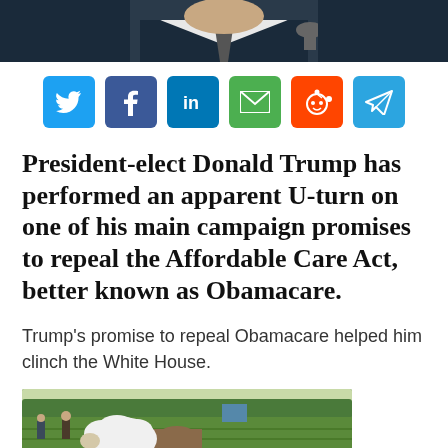[Figure (photo): Top portion of a person (likely Donald Trump) in a dark suit holding a microphone, cropped to show mainly torso and lower face]
[Figure (infographic): Social media sharing buttons: Twitter (blue), Facebook (dark blue), LinkedIn (blue), Email (green), Reddit (orange), Telegram (light blue)]
President-elect Donald Trump has performed an apparent U-turn on one of his main campaign promises to repeal the Affordable Care Act, better known as Obamacare.
Trump's promise to repeal Obamacare helped him clinch the White House.
[Figure (photo): A field scene with green crops, a cow or farm animal in the foreground, and trees in the background]